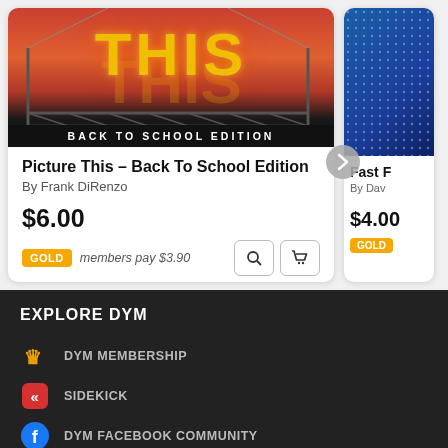[Figure (screenshot): Product card for 'Picture This – Back To School Edition' showing a billboard image with orange neon letters and a dark banner reading 'BACK TO SCHOOL EDITION']
Picture This – Back To School Edition
By Frank DiRenzo
$6.00
GOLD  members pay $3.90
[Figure (screenshot): Partial product card showing blue grid image, title starts with 'Fast F', author starts with 'By Dav', price $4.00, GOLD badge]
Fast F
By Dav
$4.00
EXPLORE DYM
DYM MEMBERSHIP
SIDEKICK
DYM FACEBOOK COMMUNITY
YM UNIVERSITY
NATIONAL DAY OF TRAINING